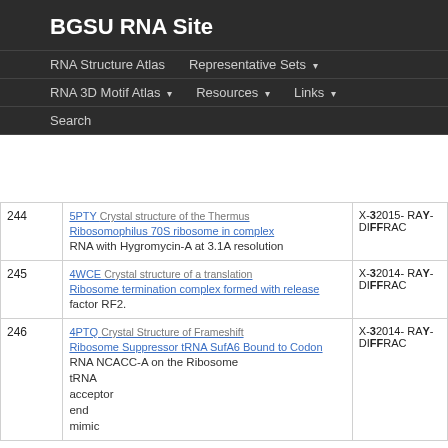BGSU RNA Site
RNA Structure Atlas   Representative Sets ▾   RNA 3D Motif Atlas ▾   Resources ▾   Links ▾   Search
| # | Description | Type/Date |
| --- | --- | --- |
| 244 | 5PTY Crystal structure of the Thermus Ribosomophilus 70S ribosome in complex RNA with Hygromycin-A at 3.1A resolution | X-RAY DIFFRAC 2015-12-... |
| 245 | 4WCE Crystal structure of a translation Ribosome termination complex formed with release factor RF2. | X-RAY DIFFRAC 2014-07-... |
| 246 | 4PTQ Crystal Structure of Frameshift Suppressor tRNA SufA6 Bound to Codon NCACC-A on the Ribosome tRNA acceptor end mimic | X-RAY DIFFRAC 2014-09-... |